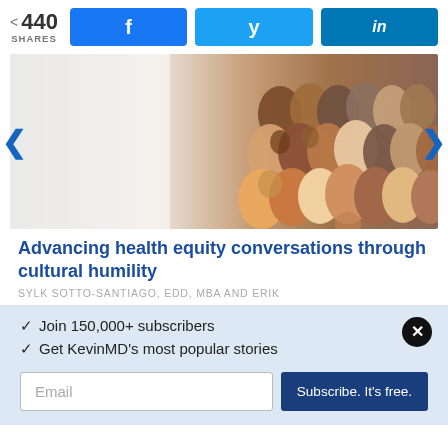440 SHARES | Facebook | Twitter | LinkedIn
[Figure (photo): Collage of diverse human face silhouettes in various skin tone colors, representing diversity and cultural humility]
Advancing health equity conversations through cultural humility
SYLK SOTTO-SANTIAGO, EDD, MBA AND ERIK
✓ Join 150,000+ subscribers
✓ Get KevinMD's most popular stories
Email | Subscribe. It's free.